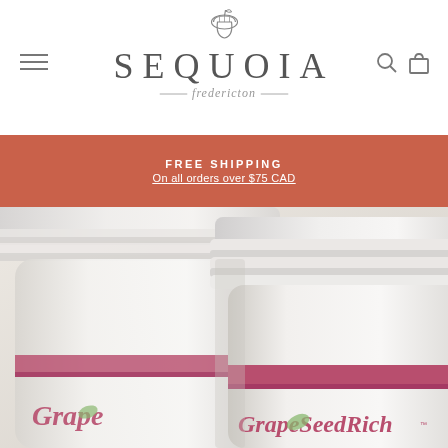[Figure (logo): Sequoia Fredericton logo with acorn icon above large serif text SEQUOIA and italic script Fredericton below with decorative lines]
FREE SHIPPING
On all orders over $75 CAD
[Figure (photo): Close-up photo of two white supplement bottles labeled GrapeSeedRich with pink band near top, caps visible, angled view]